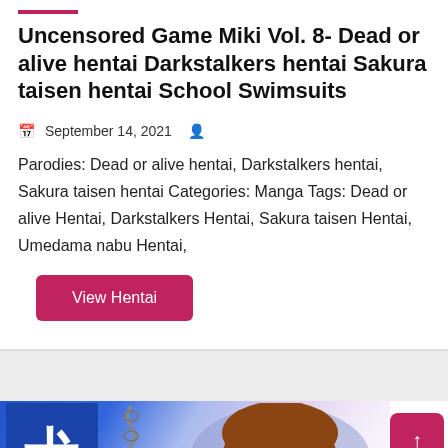Uncensored Game Miki Vol. 8- Dead or alive hentai Darkstalkers hentai Sakura taisen hentai School Swimsuits
September 14, 2021
Parodies: Dead or alive hentai, Darkstalkers hentai, Sakura taisen hentai Categories: Manga Tags: Dead or alive Hentai, Darkstalkers Hentai, Sakura taisen Hentai, Umedama nabu Hentai,
View Hentai
[Figure (illustration): Manga/anime style illustration showing Japanese kanji character on blue background on the left, chains in the middle, and an anime girl face with brown hair on the right side. A pink scroll-to-top button is visible on the far right.]